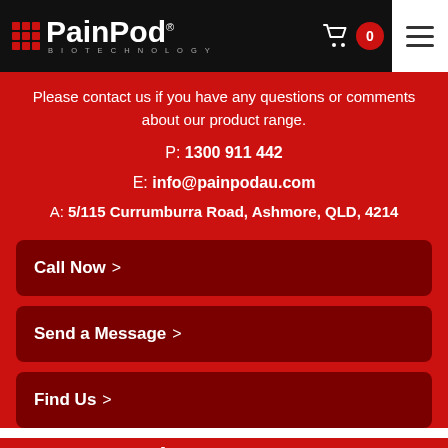PainPod Biotechnology
Please contact us if you have any questions or comments about our product range.
P: 1300 911 442
E: info@painpodau.com
A: 5/115 Currumburra Road, Ashmore, QLD, 4214
Call Now >
Send a Message >
Find Us >
Newsletter